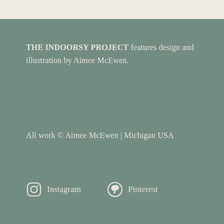THE INDOORSY PROJECT features design and illustration by Aimee McEwen.
All work © Aimee McEwen | Michigan USA
[Figure (infographic): Instagram icon (rounded square camera outline) followed by text 'Instagram', and Pinterest icon (P logo) followed by text 'Pinterest']